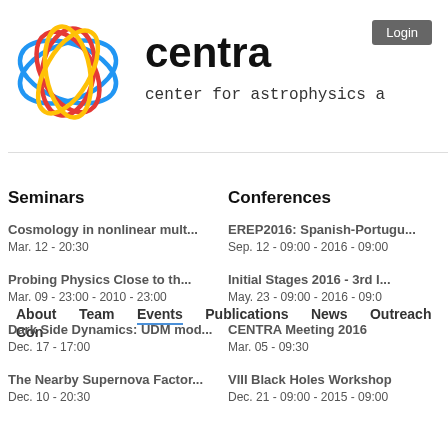[Figure (logo): CENTRA logo with colorful intertwined ellipses in blue, red, and yellow on white background]
centra
center for astrophysics a
Login
About   Team   Events   Publications   News   Outreach   Con
Seminars
Conferences
Cosmology in nonlinear mult...
Mar. 12 - 20:30
EREP2016: Spanish-Portugu...
Sep. 12 - 09:00 - 2016 - 09:00
Probing Physics Close to th...
Mar. 09 - 23:00 - 2010 - 23:00
Initial Stages 2016 - 3rd I...
May. 23 - 09:00 - 2016 - 09:0
Dark Side Dynamics: UDM mod...
Dec. 17 - 17:00
CENTRA Meeting 2016
Mar. 05 - 09:30
The Nearby Supernova Factor...
Dec. 10 - 20:30
VIII Black Holes Workshop
Dec. 21 - 09:00 - 2015 - 09:00